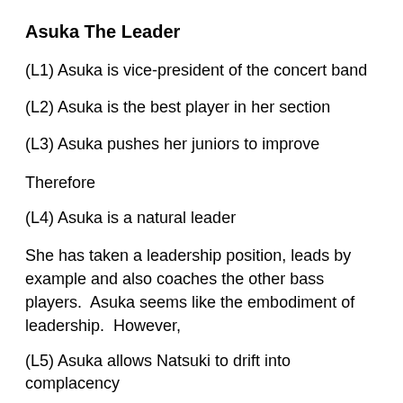Asuka The Leader
(L1) Asuka is vice-president of the concert band
(L2) Asuka is the best player in her section
(L3) Asuka pushes her juniors to improve
Therefore
(L4) Asuka is a natural leader
She has taken a leadership position, leads by example and also coaches the other bass players.  Asuka seems like the embodiment of leadership.  However,
(L5) Asuka allows Natsuki to drift into complacency
(L5) directly contradicts (L3), which seems integral to (L4). Furthermore, the audience, Asuka...